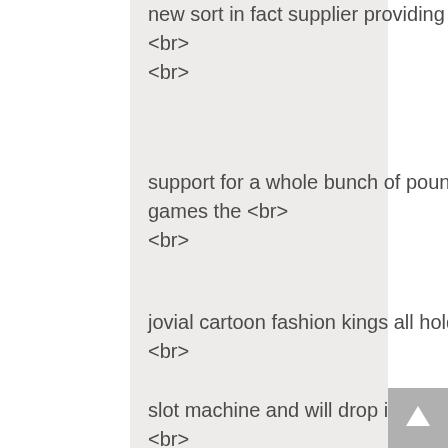new sort in fact supplier providing a greater high quality of training and <br>
<br>
support for a whole bunch of pounds much less. As with the other games the <br>
<br>
jovial cartoon fashion kings all hold their own portable <br>
<br>
slot machine and will drop in at any time to play a aspect sport.
<br>